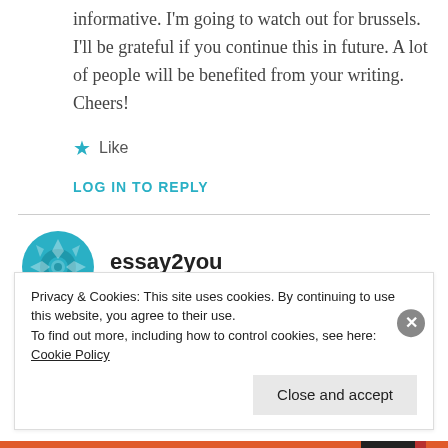informative. I'm going to watch out for brussels. I'll be grateful if you continue this in future. A lot of people will be benefited from your writing. Cheers!
★ Like
LOG IN TO REPLY
[Figure (illustration): Circular teal/blue avatar icon with geometric floral/mandala pattern for user essay2you]
essay2you
Privacy & Cookies: This site uses cookies. By continuing to use this website, you agree to their use. To find out more, including how to control cookies, see here: Cookie Policy
Close and accept